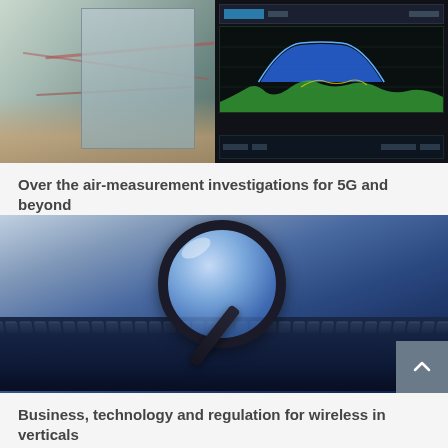[Figure (photo): Laboratory setup with electronic equipment and a screen showing spectrum analyzer readings for 5G measurement investigations]
Over the air-measurement investigations for 5G and beyond
[Figure (photo): Magnifying glass placed over a computer keyboard with blue tones, representing technology investigation and regulation]
Business, technology and regulation for wireless in verticals